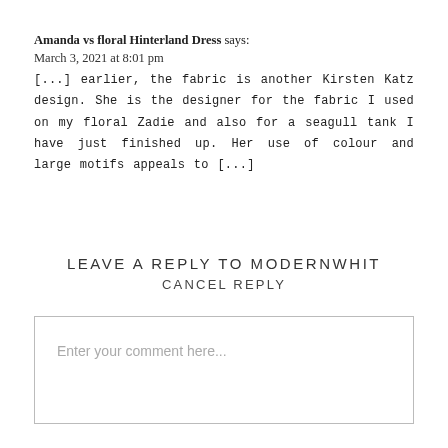Amanda vs floral Hinterland Dress says:
March 3, 2021 at 8:01 pm
[...] earlier, the fabric is another Kirsten Katz design. She is the designer for the fabric I used on my floral Zadie and also for a seagull tank I have just finished up. Her use of colour and large motifs appeals to [...]
LEAVE A REPLY TO MODERNWHIT
CANCEL REPLY
Enter your comment here...